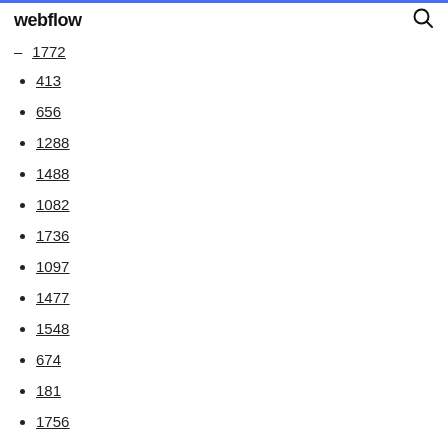webflow
1772
413
656
1288
1488
1082
1736
1097
1477
1548
674
181
1756